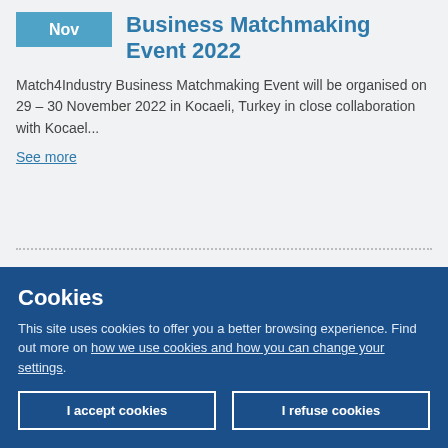Business Matchmaking Event 2022
Match4Industry Business Matchmaking Event will be organised on 29 – 30 November 2022 in Kocaeli, Turkey in close collaboration with Kocael...
See more
Spain, Zaragoza 50012
XXVI International water and environment exhibition, SMAGUA 2023
Cookies
This site uses cookies to offer you a better browsing experience. Find out more on how we use cookies and how you can change your settings.